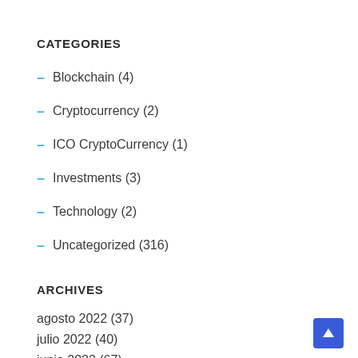CATEGORIES
Blockchain (4)
Cryptocurrency (2)
ICO CryptoCurrency (1)
Investments (3)
Technology (2)
Uncategorized (316)
ARCHIVES
agosto 2022 (37)
julio 2022 (40)
junio 2022 (67)